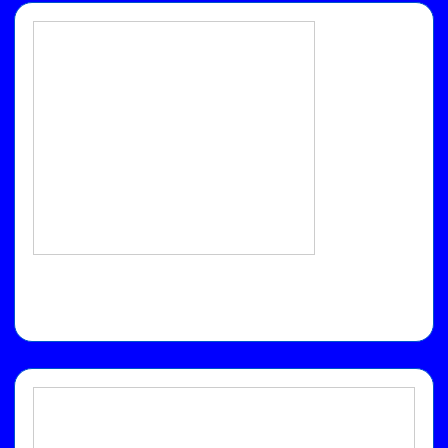[Figure (other): Top card frame: a white rounded-rectangle with blue border containing a smaller light-gray bordered inner rectangle (empty template/placeholder).]
[Figure (other): Bottom card frame: a white rounded-rectangle with blue border containing a larger light-gray bordered inner rectangle (empty template/placeholder).]